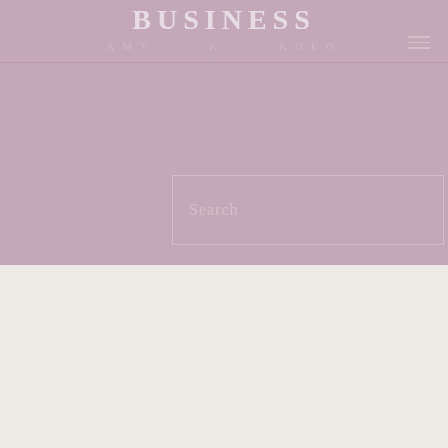BUSINESS AMY K KOLO
[Figure (screenshot): Search input box with placeholder text 'Search' on mauve/dusty rose background]
Hello